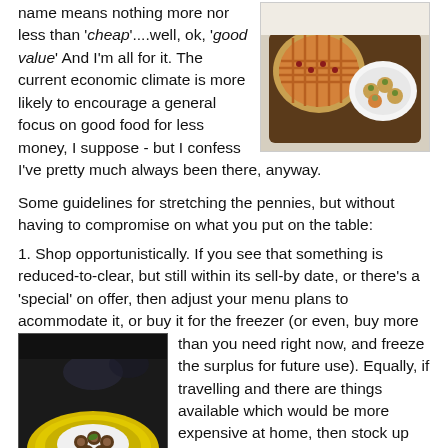name means nothing more nor less than 'cheap'....well, ok, 'good value' And I'm all for it. The current economic climate is more likely to encourage a general focus on good food for less money, I suppose - but I confess I've pretty much always been there, anyway.
[Figure (photo): Photo of baked goods including a lattice-top pie and small round pastries on a dark wooden tray]
Some guidelines for stretching the pennies, but without having to compromise on what you put on the table:
1. Shop opportunistically. If you see that something is reduced-to-clear, but still within its sell-by date, or there's a 'special' on offer, then adjust your menu plans to acommodate it, or buy it for the freezer (or even, buy more than you need right now, and freeze the surplus for future use). Equally, if travelling and there are things available which would be more expensive at home, then stock up while you can. It's on this basis that I have a freezer currently stuffed
[Figure (photo): Photo of escargot (snails) served on a white plate atop a bright yellow plate]